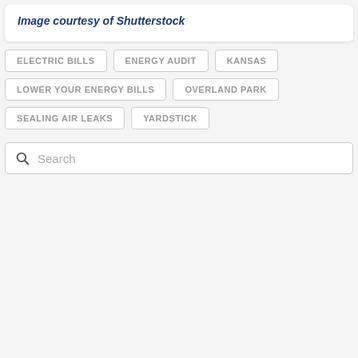Image courtesy of Shutterstock
ELECTRIC BILLS
ENERGY AUDIT
KANSAS
LOWER YOUR ENERGY BILLS
OVERLAND PARK
SEALING AIR LEAKS
YARDSTICK
Search